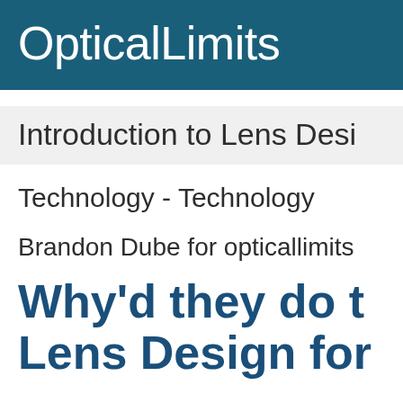OpticalLimits
Introduction to Lens Desi
Technology - Technology
Brandon Dube for opticallimits
Why'd they do t Lens Design for